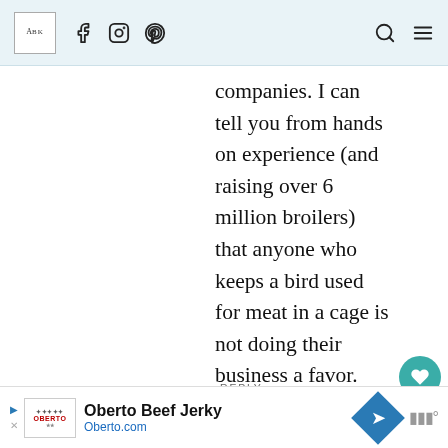Navigation bar with logo, Facebook, Instagram, Pinterest icons and search, menu icons
companies. I can tell you from hands on experience (and raising over 6 million broilers) that anyone who keeps a bird used for meat in a cage is not doing their business a favor.
REPLY
[Figure (screenshot): Oberto Beef Jerky advertisement banner with logo, Oberto.com URL, blue diamond arrow icon, and audio/mute icon]
Oberto Beef Jerky — Oberto.com advertisement